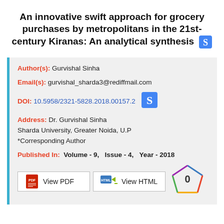An innovative swift approach for grocery purchases by metropolitans in the 21st-century Kiranas: An analytical synthesis
Author(s): Gurvishal Sinha
Email(s): gurvishal_sharda3@rediffmail.com
DOI: 10.5958/2321-5828.2018.00157.2
Address: Dr. Gurvishal Sinha
Sharda University, Greater Noida, U.P
*Corresponding Author
Published In: Volume - 9,   Issue - 4,   Year - 2018